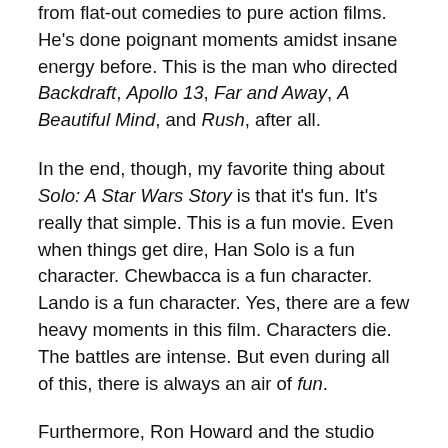from flat-out comedies to pure action films.  He's done poignant moments amidst insane energy before.  This is the man who directed Backdraft, Apollo 13, Far and Away, A Beautiful Mind, and Rush, after all.
In the end, though, my favorite thing about Solo: A Star Wars Story is that it's fun.  It's really that simple.  This is a fun movie.  Even when things get dire, Han Solo is a fun character.  Chewbacca is a fun character.  Lando is a fun character.  Yes, there are a few heavy moments in this film.  Characters die.  The battles are intense.  But even during all of this, there is always an air of fun.
Furthermore, Ron Howard and the studio seem to understand what made us fall in love with Han Solo to begin with.  This is a youthful Han Solo, to be sure, but this is not a sanitized, clean-cut version of the character.  In